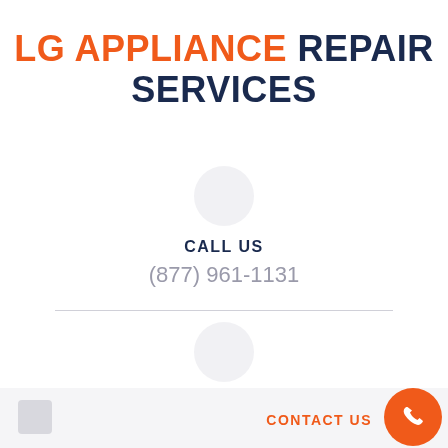LG APPLIANCE REPAIR SERVICES
CALL US
(877) 961-1131
EMAIL US
localhelp811@gmail.com
CONTACT US